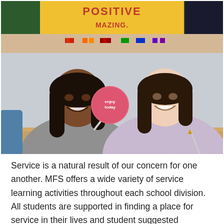[Figure (photo): Two smiling young women sitting at a desk in a classroom. The woman on the left has long dark hair and is wearing a gray sweatshirt, holding a large pink lollipop. The woman on the right has straight dark hair and is wearing a light pink/lavender hoodie. Behind them is a bulletin board with a yellow sign reading 'POSITIVE' and a colorful banner strip.]
Service is a natural result of our concern for one another. MFS offers a wide variety of service learning activities throughout each school division. All students are supported in finding a place for service in their lives and student suggested activities are welcome